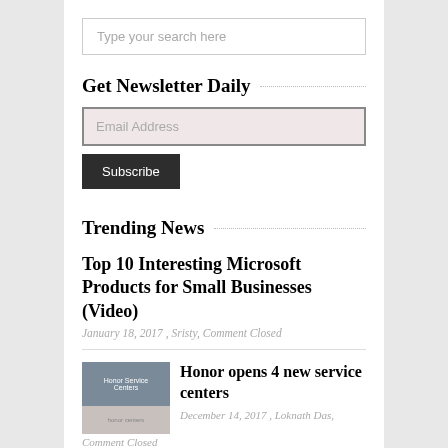Type your search here
Get Newsletter Daily
Email Address
Subscribe
Trending News
Top 10 Interesting Microsoft Products for Small Businesses (Video)
January 18, 2017 , Sristy, Comment Closed
[Figure (photo): Thumbnail image for Honor opens 4 new service centers article]
Honor opens 4 new service centers
December 14, 2017 , Loknath Das,
Comment Closed